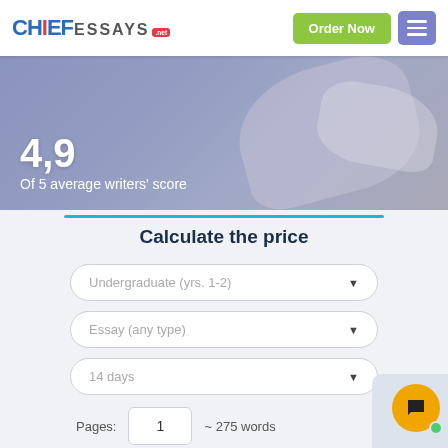[Figure (logo): Chief Essays .net logo in blue and gray with red accent]
Order Now
[Figure (photo): Hero banner with blurred writing/desk background showing 4,9 of 5 average writers score]
Calculate the price
Undergraduate (yrs. 1-2)
Essay (any type)
14 days
Pages:  1  ~ 275 words